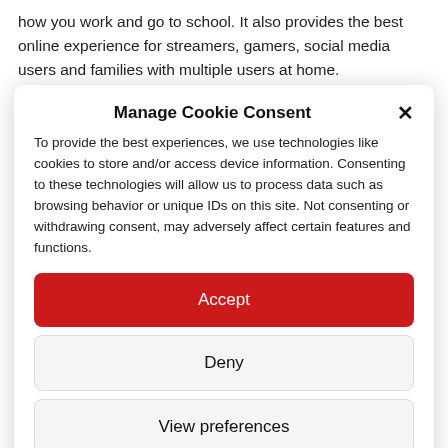how you work and go to school. It also provides the best online experience for streamers, gamers, social media users and families with multiple users at home.
Manage Cookie Consent
To provide the best experiences, we use technologies like cookies to store and/or access device information. Consenting to these technologies will allow us to process data such as browsing behavior or unique IDs on this site. Not consenting or withdrawing consent, may adversely affect certain features and functions.
Accept
Deny
View preferences
Cookie Policy